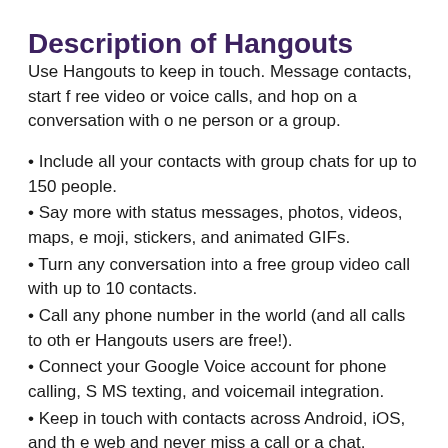Description of Hangouts
Use Hangouts to keep in touch. Message contacts, start free video or voice calls, and hop on a conversation with one person or a group.
Include all your contacts with group chats for up to 150 people.
Say more with status messages, photos, videos, maps, emoji, stickers, and animated GIFs.
Turn any conversation into a free group video call with up to 10 contacts.
Call any phone number in the world (and all calls to other Hangouts users are free!).
Connect your Google Voice account for phone calling, SMS texting, and voicemail integration.
Keep in touch with contacts across Android, iOS, and the web and never miss a call or a chat.